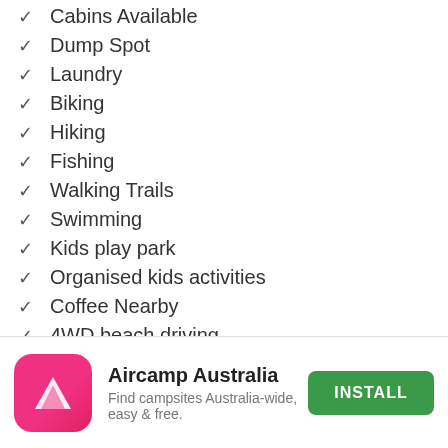✓ Cabins Available
✓ Dump Spot
✓ Laundry
✓ Biking
✓ Hiking
✓ Fishing
✓ Walking Trails
✓ Swimming
✓ Kids play park
✓ Organised kids activities
✓ Coffee Nearby
✓ 4WD beach driving
✓ Reflections
Read more ›
[Figure (logo): Aircamp Australia app icon — pink rounded square with white triangle/tent logo]
Aircamp Australia
Find campsites Australia-wide, easy & free.
INSTALL